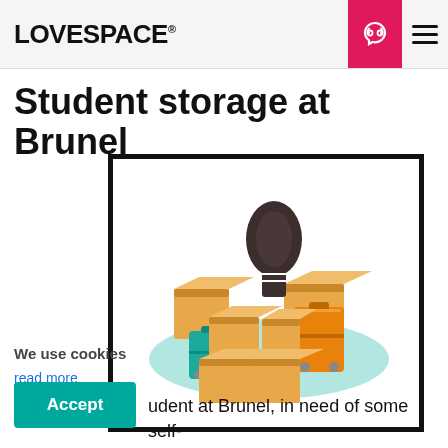LOVESPACE®
Student storage at Brunel
[Figure (illustration): Isometric illustration of cardboard boxes, an orange suitcase, a teal suitcase, and a guitar case arranged on a light teal oval surface, inside a thick black border frame.]
We use cookies
read more
Accept
udent at Brunel, in need of some self-